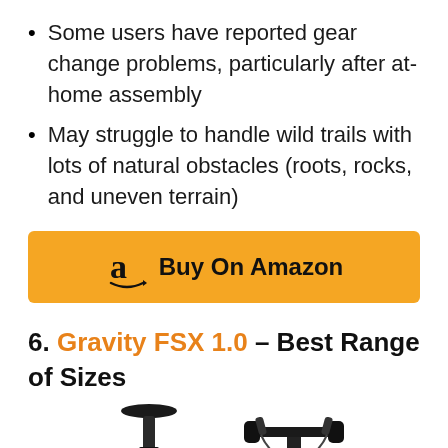Some users have reported gear change problems, particularly after at-home assembly
May struggle to handle wild trails with lots of natural obstacles (roots, rocks, and uneven terrain)
[Figure (other): Amazon buy button with Amazon logo and text 'Buy On Amazon' on orange/yellow background]
6. Gravity FSX 1.0 – Best Range of Sizes
[Figure (photo): Two partial photos of a bicycle: left shows the seat/seatpost, right shows the handlebars]